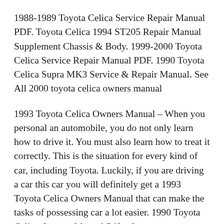1988-1989 Toyota Celica Service Repair Manual PDF. Toyota Celica 1994 ST205 Repair Manual Supplement Chassis & Body. 1999-2000 Toyota Celica Service Repair Manual PDF. 1990 Toyota Celica Supra MK3 Service & Repair Manual. See All 2000 toyota celica owners manual
1993 Toyota Celica Owners Manual – When you personal an automobile, you do not only learn how to drive it. You must also learn how to treat it correctly. This is the situation for every kind of car, including Toyota. Luckily, if you are driving a car this car you will definitely get a 1993 Toyota Celica Owners Manual that can make the tasks of possessing car a lot easier. 1990 Toyota Celica Owners Manual Pdf – Once you own a vehicle